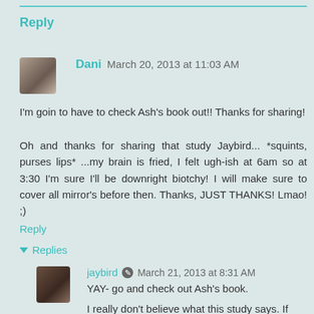Reply
Dani March 20, 2013 at 11:03 AM
I'm goin to have to check Ash's book out!! Thanks for sharing!
Oh and thanks for sharing that study Jaybird... *squints, purses lips* ...my brain is fried, I felt ugh-ish at 6am so at 3:30 I'm sure I'll be downright biotchy! I will make sure to cover all mirror's before then. Thanks, JUST THANKS! Lmao! ;)
Reply
Replies
jaybird March 21, 2013 at 8:31 AM
YAY- go and check out Ash's book.
I really don't believe what this study says. If